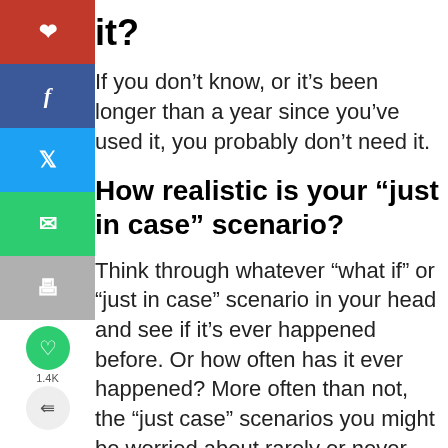it?
If you don't know, or it's been longer than a year since you've used it, you probably don't need it.
How realistic is your “just in case” scenario?
Think through whatever “what if” or “just in case” scenario in your head and see if it’s ever happened before. Or how often has it ever happened? More often than not, the “just case” scenarios you might be worried about rarely or never actually happen.